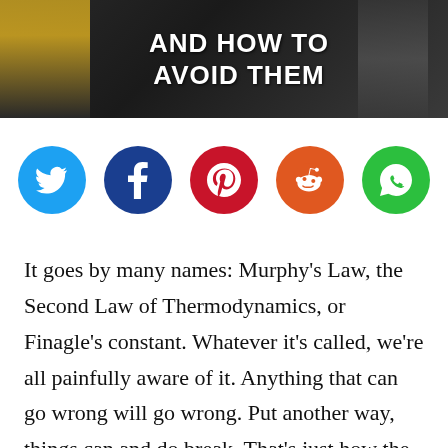[Figure (illustration): Banner image with dark background showing silhouettes, a yellow-coated figure on the left, and a person on the right. White bold text reads 'AND HOW TO AVOID THEM']
[Figure (infographic): Row of five social media share icons: Twitter (blue), Facebook (dark blue), Pinterest (red), Reddit (orange), WhatsApp (green)]
It goes by many names: Murphy’s Law, the Second Law of Thermodynamics, or Finagle’s constant. Whatever it’s called, we’re all painfully aware of it. Anything that can go wrong will go wrong. Put another way, things can and do break. That’s just how the